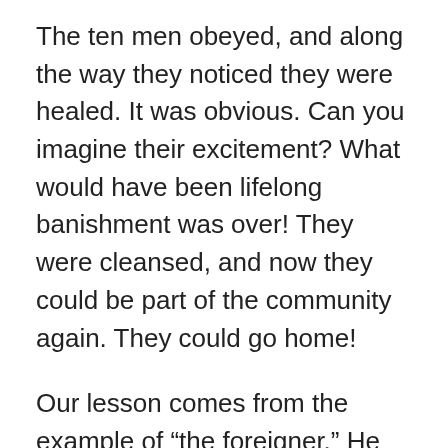The ten men obeyed, and along the way they noticed they were healed. It was obvious. Can you imagine their excitement? What would have been lifelong banishment was over! They were cleansed, and now they could be part of the community again. They could go home!
Our lesson comes from the example of “the foreigner.” He saw his healing and hurried back, praising God with excitement, not caring what anyone thought. He was loud. He was ecstatic. After all, he was healed! Throwing himself at Jesus’ feet, the Samaritan did what we expected from all ten who had been healed. He took the time to thank his healer.
Yet where were the other nine? Jesus’ question prompts us all to think about our thankfulness. The thankful Samaritan was healed physically and spiritually, as Jesus